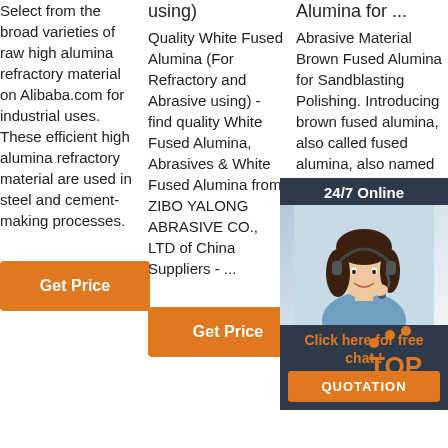Select from the broad varieties of raw high alumina refractory material on Alibaba.com for industrial uses. These efficient high alumina refractory material are used in steel and cement-making processes.
[Figure (other): Orange 'Get Price' button]
using)
Quality White Fused Alumina (For Refractory and Abrasive using) - find quality White Fused Alumina, Abrasives & White Fused Alumina from ZIBO YALONG ABRASIVE CO., LTD of China Suppliers - ...
[Figure (other): Orange 'Get Price' button]
Alumina for ...
Abrasive Material Brown Fused Alumina for Sandblasting Polishing. Introducing brown fused alumina, also called fused alumina, also named emery. The raw materials include bauxite, iron materials and scrap. Put the raw materials into arc furnace, passed the high temperature. The main ingredient is alumina.
[Figure (other): 24/7 Online chat overlay with agent photo and QUOTATION button]
[Figure (other): TOP badge with orange dots]